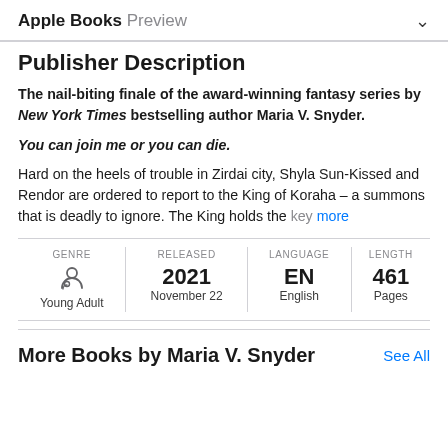Apple Books Preview
Publisher Description
The nail-biting finale of the award-winning fantasy series by New York Times bestselling author Maria V. Snyder.
You can join me or you can die.
Hard on the heels of trouble in Zirdai city, Shyla Sun-Kissed and Rendor are ordered to report to the King of Koraha – a summons that is deadly to ignore. The King holds the key more
| GENRE | RELEASED | LANGUAGE | LENGTH |
| --- | --- | --- | --- |
| Young Adult | 2021
November 22 | EN
English | 461
Pages |
More Books by Maria V. Snyder
See All